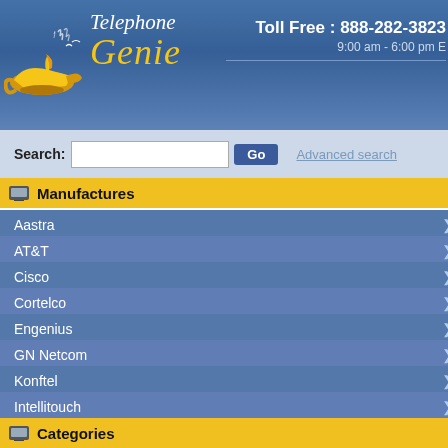[Figure (logo): Telephone Genie logo with magic lamp and yellow/white stylized text on blue gradient header background]
Toll Free : 888-282-3823
9:00 am - 6:00 pm E
Search:
Go
Advanced search
Manufactures
Aastra
AT&T
Cisco
Cortelco
Engenius
GN Netcom
Konftel
Intellitouch
Panasonic
Plantronics
SBC | Uniden
Categories
Bargain Deals
Recording Devices
Senior | Hearing Impaired
TelephoneGenie :: Aastra :: 5i Series Pho
A full family of cost effective enterprise grade and ease of use. Interoperable with leading
5i Series Phones
[Figure (photo): Photo of Aastra 53i VoIP phone, black desk phone]
Aastra 53i VolP
A1753-0131-10-01 - A
A1753-0131-10-01
New: US $ 13
[Figure (photo): Photo of Aastra 55i VoIP phone, black desk phone]
Aastra 55i VolP
A1755-0131-10-01 - A